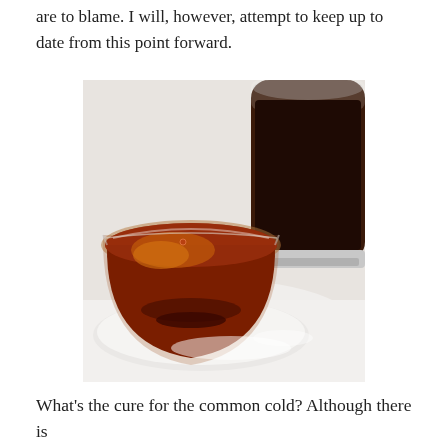are to blame. I will, however, attempt to keep up to date from this point forward.
[Figure (photo): Two glass cups filled with dark red-brown tea, viewed from above at a slight angle, sitting on a white surface. The foreground cup is larger and round, the background cup appears taller with darker liquid.]
What's the cure for the common cold? Although there is